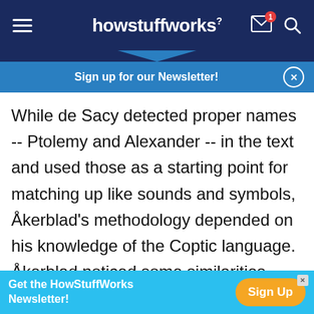howstuffworks
Sign up for our Newsletter!
While de Sacy detected proper names -- Ptolemy and Alexander -- in the text and used those as a starting point for matching up like sounds and symbols, Åkerblad's methodology depended on his knowledge of the Coptic language. Åkerblad noticed some similarities between the Demotic inscription and Coptic, and by comparing these similarities he was able to discern the words "love," "temple" and "Greek." Relying on these words to form a skeletal outline of the Demotic alphabet, Åkerblad went on to
Get the HowStuffWorks Newsletter! Sign Up